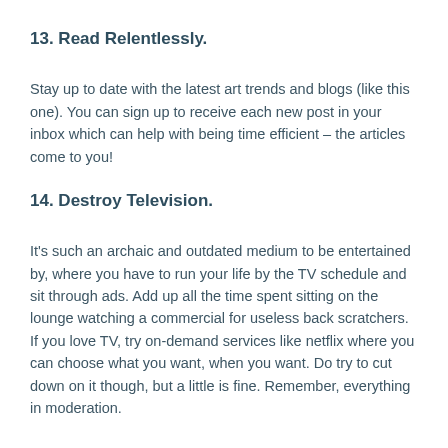13. Read Relentlessly.
Stay up to date with the latest art trends and blogs (like this one). You can sign up to receive each new post in your inbox which can help with being time efficient – the articles come to you!
14. Destroy Television.
It's such an archaic and outdated medium to be entertained by, where you have to run your life by the TV schedule and sit through ads. Add up all the time spent sitting on the lounge watching a commercial for useless back scratchers. If you love TV, try on-demand services like netflix where you can choose what you want, when you want. Do try to cut down on it though, but a little is fine. Remember, everything in moderation.